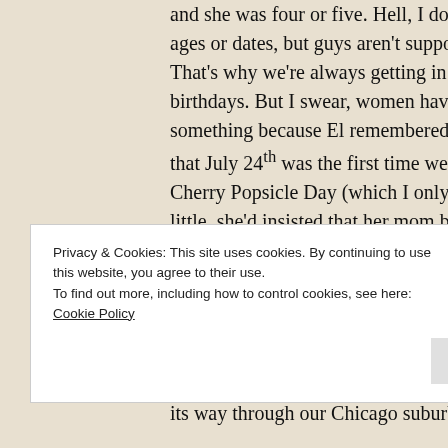and she was four or five. Hell, I don't remember ages or dates, but guys aren't supposed to. That's why we're always getting in trouble with birthdays. But I swear, women have built-in something because El remembered every detail: that July 24th was the first time we met and it was Cherry Popsicle Day (which I only remember because little, she'd insisted that her mom buy us a box, we'd eaten them for an hour straight until our tongues were permanently stained red, which we, of course, showed by sticking them out every five seconds. At least we were on her driveway).
Privacy & Cookies: This site uses cookies. By continuing to use this website, you agree to their use.
To find out more, including how to control cookies, see here:
Cookie Policy
Close and accept
its way through our Chicago suburb neig